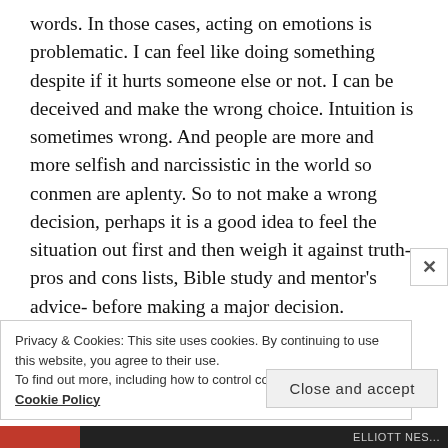words. In those cases, acting on emotions is problematic. I can feel like doing something despite if it hurts someone else or not. I can be deceived and make the wrong choice. Intuition is sometimes wrong. And people are more and more selfish and narcissistic in the world so conmen are aplenty. So to not make a wrong decision, perhaps it is a good idea to feel the situation out first and then weigh it against truth- pros and cons lists, Bible study and mentor's advice- before making a major decision. Emotions stir the passions of the heart and they are as strong as they can be unstable. Our hormones
Privacy & Cookies: This site uses cookies. By continuing to use this website, you agree to their use.
To find out more, including how to control cookies, see here:
Cookie Policy
Close and accept